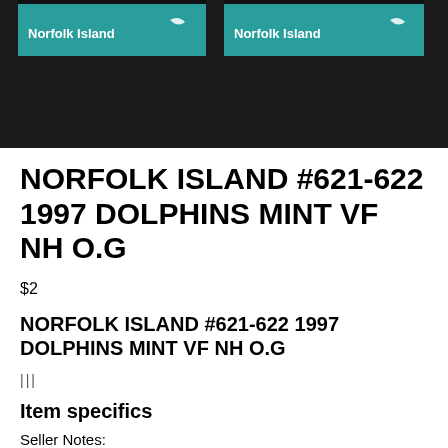[Figure (photo): Photograph of two Norfolk Island postage stamps on a dark background, each showing 'Norfolk Island' text in teal/turquoise color with a bird graphic.]
NORFOLK ISLAND #621-622 1997 DOLPHINS MINT VF NH O.G
$2
NORFOLK ISLAND #621-622 1997 DOLPHINS MINT VF NH O.G
|||
Item specifics
Seller Notes:
"SCANS SHOWN ARE A GENERIC SCAN AND MAY NOT BE